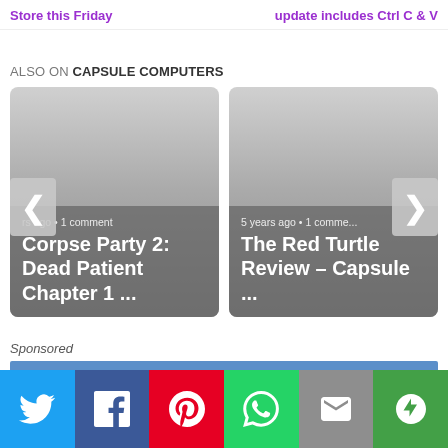Store this Friday
update includes Ctrl C & V
ALSO ON CAPSULE COMPUTERS
[Figure (screenshot): Two article cards: 'Corpse Party 2: Dead Patient Chapter 1 ...' (rs ago • 1 comment) and 'The Red Turtle Review – Capsule ...' (5 years ago • 1 comment), with left and right navigation arrows]
Sponsored
[Figure (other): Blue sponsored content bar]
[Figure (other): Social share bar with Twitter, Facebook, Pinterest, WhatsApp, Email, and More buttons]